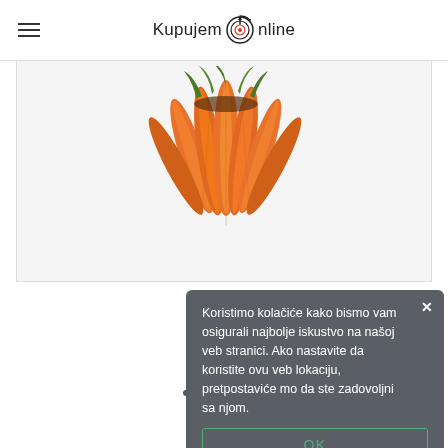Kupujem Online
[Figure (photo): A bunch of orange carrots with green tops, photographed against a white/light background, showing the lower half of the bunch.]
Koristimo kolačiće kako bismo vam osigurali najbolje iskustvo na našoj veb stranici. Ako nastavite da koristite ovu veb lokaciju, pretpostaviće mo da ste zadovoljni sa njom.
OK